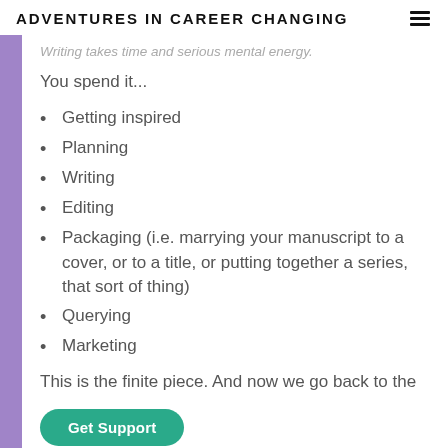ADVENTURES IN CAREER CHANGING
Writing takes time and serious mental energy.
You spend it...
Getting inspired
Planning
Writing
Editing
Packaging (i.e. marrying your manuscript to a cover, or to a title, or putting together a series, that sort of thing)
Querying
Marketing
This is the finite piece. And now we go back to the
The Finite World W...